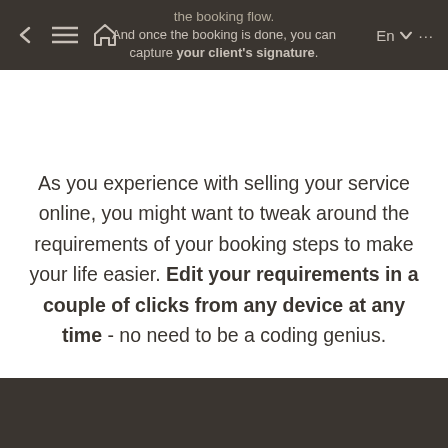the booking flow. And once the booking is done, you can capture your client's signature.
As you experience with selling your service online, you might want to tweak around the requirements of your booking steps to make your life easier. Edit your requirements in a couple of clicks from any device at any time - no need to be a coding genius.